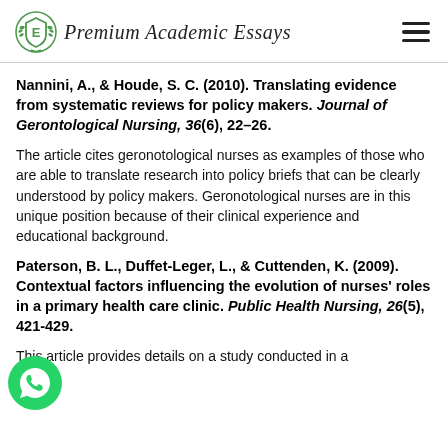Premium Academic Essays
Nannini, A., & Houde, S. C. (2010). Translating evidence from systematic reviews for policy makers. Journal of Gerontological Nursing, 36(6), 22–26.
The article cites geronotological nurses as examples of those who are able to translate research into policy briefs that can be clearly understood by policy makers. Geronotological nurses are in this unique position because of their clinical experience and educational background.
Paterson, B. L., Duffet-Leger, L., & Cuttenden, K. (2009). Contextual factors influencing the evolution of nurses' roles in a primary health care clinic. Public Health Nursing, 26(5), 421-429.
This article provides details on a study conducted in a